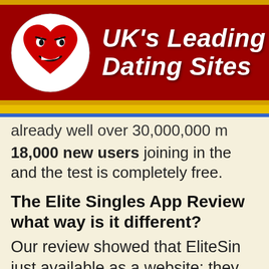[Figure (logo): UK's Leading Dating Sites banner with a cartoon red heart mascot logo on dark red background with gold stripes]
already well over 30,000,000 m
18,000 new users joining in the and the test is completely free.
The Elite Singles App Review what way is it different?
Our review showed that EliteSin just available as a website: they version for Android and iPhone.